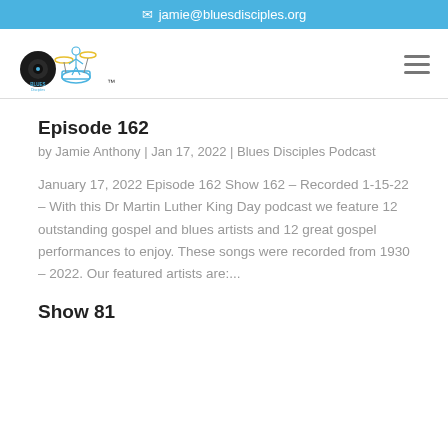✉ jamie@bluesdisciples.org
[Figure (logo): Blues Disciples logo with vinyl record and drum set, with TM mark]
Episode 162
by Jamie Anthony | Jan 17, 2022 | Blues Disciples Podcast
January 17, 2022 Episode 162 Show 162 – Recorded 1-15-22 – With this Dr Martin Luther King Day podcast we feature 12 outstanding gospel and blues artists and 12 great gospel performances to enjoy. These songs were recorded from 1930 – 2022. Our featured artists are:...
Show 81